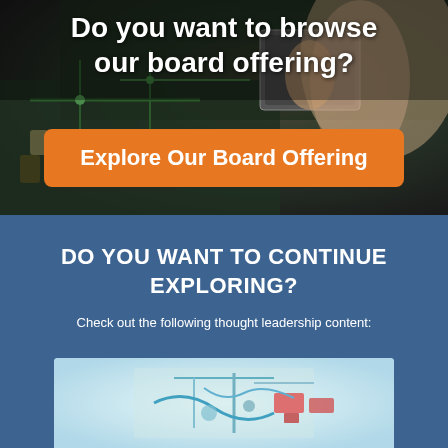[Figure (photo): Close-up photo of a person's hand touching a circuit board / PCB with electronic components, dark background]
Do you want to browse our board offering?
Explore Our Board Offering
DO YOU WANT TO CONTINUE EXPLORING?
Check out the following thought leadership content:
[Figure (photo): Photo of electronic components and wires on a circuit board, colorful engineering image]